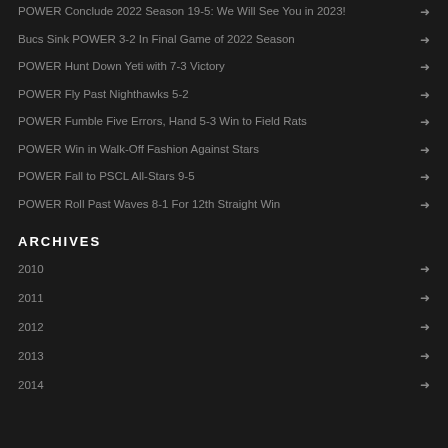POWER Conclude 2022 Season 19-5: We Will See You in 2023!
Bucs Sink POWER 3-2 In Final Game of 2022 Season
POWER Hunt Down Yeti with 7-3 Victory
POWER Fly Past Nighthawks 5-2
POWER Fumble Five Errors, Hand 5-3 Win to Field Rats
POWER Win in Walk-Off Fashion Against Stars
POWER Fall to PSCL All-Stars 9-5
POWER Roll Past Waves 8-1 For 12th Straight Win
ARCHIVES
2010
2011
2012
2013
2014